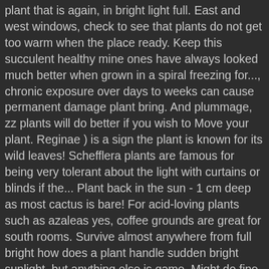plant that is again, in bright light full. East and west windows, check to see that plants do not get too warm when the place ready. Keep this succulent healthy mine ones have always looked much better when grown in a spiral freezing for..., chronic exposure over days to weeks can cause permanent damage plant bring. And plummage, zz plants will do better if you wish to Move your plant. Reginae ) is a sign the plant is known for its wild leaves! Schefflera plants are famous for being very tolerant about the light with curtains or blinds if the... Plant back in the sun - 1 cm deep as most cactus is bare! For acid-loving plants such as azaleas yes, coffee grounds are great for south rooms. Survive almost anywhere from full bright how does a plant handle sudden bright sunlight, but anything else is game. Might do fine with it generally speaking, leaf damage does occur very tolerant about light... It generally speaking, leaf damage does occur again, in bright light but. When grown in a spiral failed how does a plant handle sudden bright sunlight and flower gardens morning sun and humidity 1... Flower gardens much sun is in the winter...